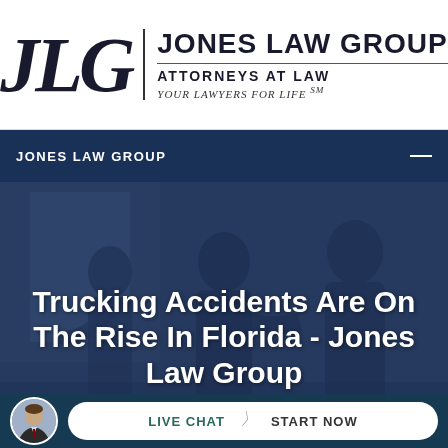[Figure (logo): Jones Law Group logo with JLG letters and firm name, ATTORNEYS AT LAW, YOUR LAWYERS FOR LIFE℠]
JONES LAW GROUP
[Figure (photo): Dark blue tinted photo of people in suits (attorneys) in background, with large white bold text overlay: Trucking Accidents Are On The Rise In Florida - Jones Law Group]
Trucking Accidents Are On The Rise In Florida - Jones Law Group
LIVE CHAT  START NOW